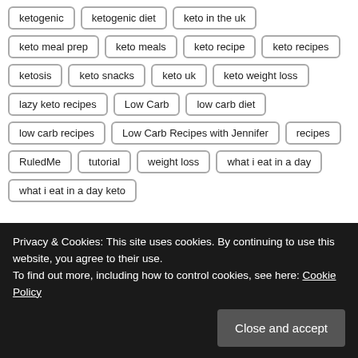ketogenic
ketogenic diet
keto in the uk
keto meal prep
keto meals
keto recipe
keto recipes
ketosis
keto snacks
keto uk
keto weight loss
lazy keto recipes
Low Carb
low carb diet
low carb recipes
Low Carb Recipes with Jennifer
recipes
RuledMe
tutorial
weight loss
what i eat in a day
what i eat in a day keto
Privacy & Cookies: This site uses cookies. By continuing to use this website, you agree to their use.
To find out more, including how to control cookies, see here: Cookie Policy
Close and accept